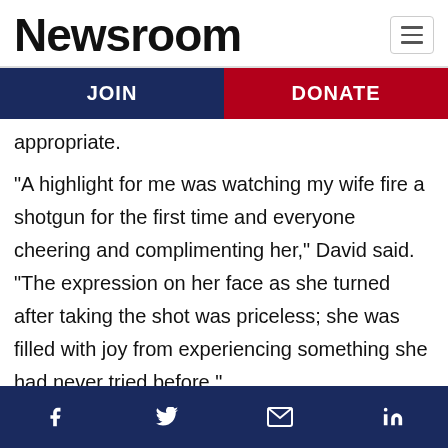Newsroom
JOIN | DONATE
appropriate.
“A highlight for me was watching my wife fire a shotgun for the first time and everyone cheering and complimenting her,” David said. “The expression on her face as she turned after taking the shot was priceless; she was filled with joy from experiencing something she had never tried before.”
Facebook | Twitter | Email | LinkedIn